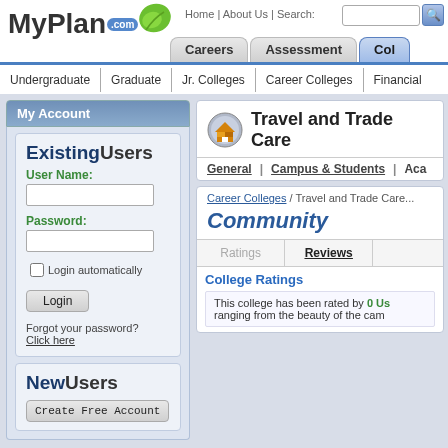[Figure (screenshot): MyPlan.com website logo with green leaf icon]
Home | About Us | Search:
Careers | Assessment | Col...
Undergraduate | Graduate | Jr. Colleges | Career Colleges | Financial...
My Account
ExistingUsers
User Name:
Password:
Login automatically
Login
Forgot your password? Click here
NewUsers
Create Free Account
Travel and Trade Care...
General | Campus & Students | Aca...
Career Colleges / Travel and Trade Care...
Community
Ratings | Reviews
College Ratings
This college has been rated by 0 Us... ranging from the beauty of the cam...